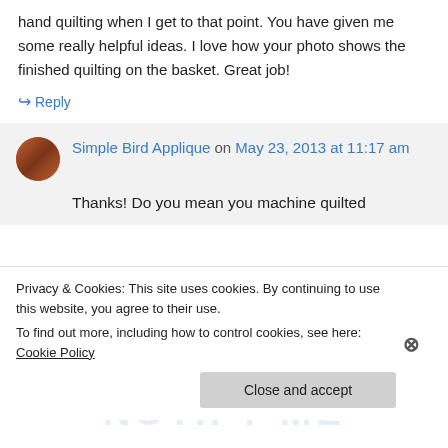hand quilting when I get to that point. You have given me some really helpful ideas. I love how your photo shows the finished quilting on the basket. Great job!
↪ Reply
Simple Bird Applique on May 23, 2013 at 11:17 am
Thanks! Do you mean you machine quilted
Privacy & Cookies: This site uses cookies. By continuing to use this website, you agree to their use.
To find out more, including how to control cookies, see here: Cookie Policy
Close and accept